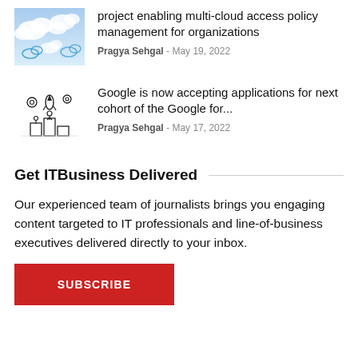[Figure (illustration): Cloud computing themed image with blue clouds and cloud icons]
project enabling multi-cloud access policy management for organizations
Pragya Sehgal - May 19, 2022
[Figure (illustration): Black and white illustration of people building/launching technology projects with rocket and gears]
Google is now accepting applications for next cohort of the Google for...
Pragya Sehgal - May 17, 2022
Get ITBusiness Delivered
Our experienced team of journalists brings you engaging content targeted to IT professionals and line-of-business executives delivered directly to your inbox.
SUBSCRIBE